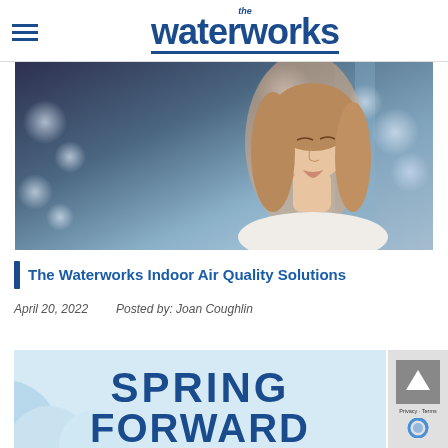[Figure (logo): The Waterworks logo with hamburger menu icon on the left and the stylized 'the waterworks' text in dark blue centered in the header]
[Figure (photo): A woman with long hair, eyes closed, head tilted back, wearing a white sweater, with bokeh/blurred blue light background suggesting indoor air quality or fresh air]
The Waterworks Indoor Air Quality Solutions
April 20, 2022     Posted by: Joan Coughlin
[Figure (infographic): Partial view of a promotional graphic with light blue background and bold dark blue text reading 'SPRING FORWARD' with white cloud/circle shapes in the lower left]